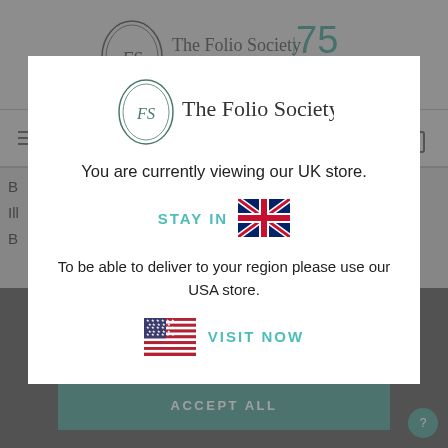[Figure (screenshot): The Folio Society website header with logo and 75th anniversary badge]
[Figure (screenshot): Navigation bar with hamburger menu, UK flag, search icon, and shopping bag icon]
[Figure (screenshot): Modal dialog showing The Folio Society logo with region selection prompt]
You are currently viewing our UK store.
STAY IN
To be able to deliver to your region please use our USA store.
VISIT NOW
ACCEPT ALL